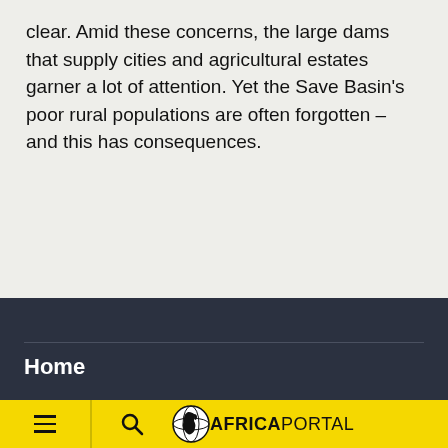clear. Amid these concerns, the large dams that supply cities and agricultural estates garner a lot of attention. Yet the Save Basin's poor rural populations are often forgotten – and this has consequences.
Home
[Figure (logo): Africa Portal logo with yellow navigation bar, hamburger menu icon, search icon, Africa globe icon and AFRICAPORTAL text]